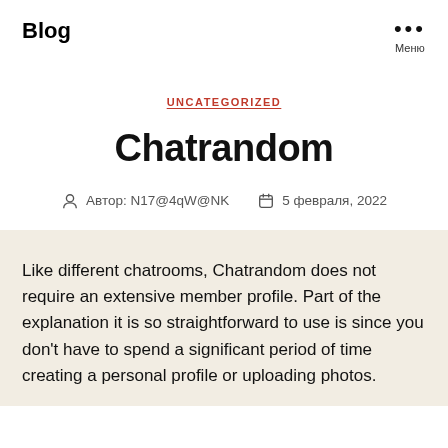Blog
UNCATEGORIZED
Chatrandom
Автор: N17@4qW@NK   5 февраля, 2022
Like different chatrooms, Chatrandom does not require an extensive member profile. Part of the explanation it is so straightforward to use is since you don't have to spend a significant period of time creating a personal profile or uploading photos.